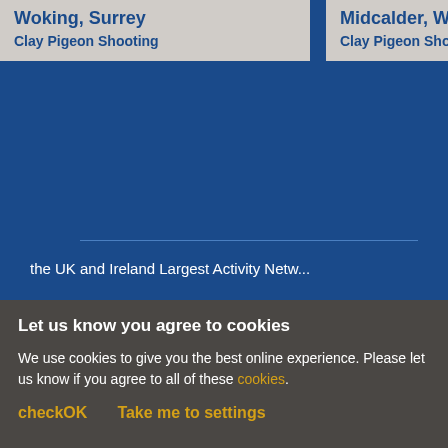Woking, Surrey — Clay Pigeon Shooting
Midcalder, We... — Clay Pigeon Shooting
1  2
the UK and Ireland Largest Activity Netw...
Let us know you agree to cookies
We use cookies to give you the best online experience. Please let us know if you agree to all of these cookies.
checkOK
Take me to settings